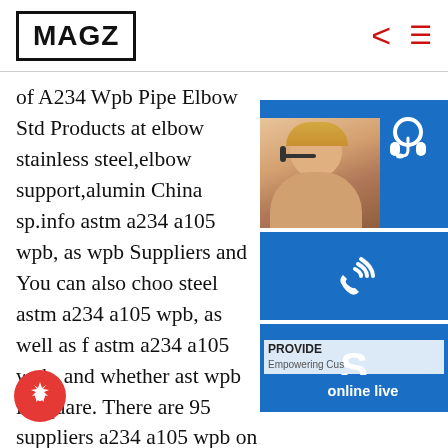MAGZ
of A234 Wpb Pipe Elbow Std Products at elbow stainless steel,elbow support,alumin China sp.info astm a234 a105 wpb, as wpb Suppliers and You can also choo steel astm a234 a105 wpb, as well as f astm a234 a105 wpb, and whether ast wpb is square. There are 95 suppliers a234 a105 wpb on , mainly located in countries of supplier is China, from which the percentage of astm a234 a105 wpb supply is 100% sp.info ASTM A234 Gr.WPB Carbon Steel Cap ASME B Wrought China ASTM A234 Gr.WPB Carbon Steel Cap Factory Derbo Supplies ASTM A234
[Figure (infographic): Customer service sidebar overlay with 24/7 label, headset icon, person photo, phone icon, Skype icon, PROVIDE Empowering Customers text, and online live button]